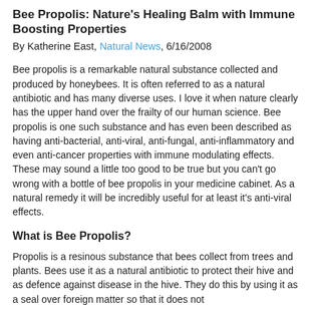Bee Propolis: Nature's Healing Balm with Immune Boosting Properties
By Katherine East, Natural News, 6/16/2008
Bee propolis is a remarkable natural substance collected and produced by honeybees. It is often referred to as a natural antibiotic and has many diverse uses. I love it when nature clearly has the upper hand over the frailty of our human science. Bee propolis is one such substance and has even been described as having anti-bacterial, anti-viral, anti-fungal, anti-inflammatory and even anti-cancer properties with immune modulating effects. These may sound a little too good to be true but you can't go wrong with a bottle of bee propolis in your medicine cabinet. As a natural remedy it will be incredibly useful for at least it's anti-viral effects.
What is Bee Propolis?
Propolis is a resinous substance that bees collect from trees and plants. Bees use it as a natural antibiotic to protect their hive and as defence against disease in the hive. They do this by using it as a seal over foreign matter so that it does not